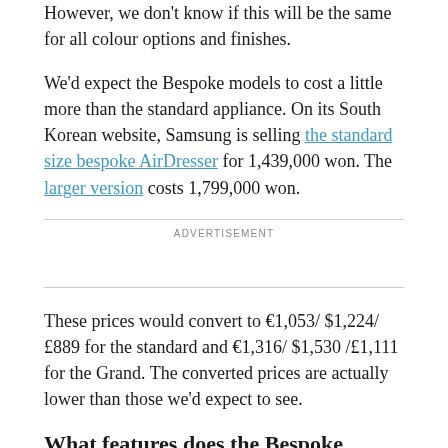However, we don't know if this will be the same for all colour options and finishes.
We'd expect the Bespoke models to cost a little more than the standard appliance. On its South Korean website, Samsung is selling the standard size bespoke AirDresser for 1,439,000 won. The larger version costs 1,799,000 won.
ADVERTISEMENT
These prices would convert to €1,053/ $1,224/ £889 for the standard and €1,316/ $1,530 /£1,111 for the Grand. The converted prices are actually lower than those we'd expect to see.
What features does the Bespoke